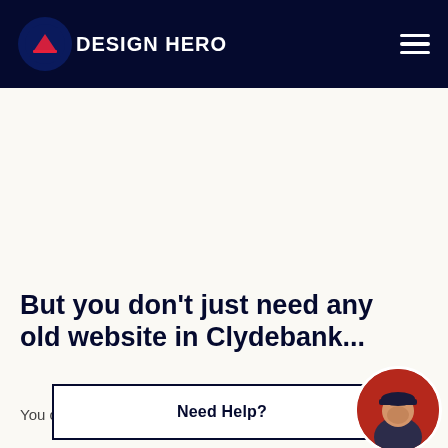DESIGN HERO
But you don't just need any old website in Clydebank...
You came h
[Figure (other): Need Help? chat widget with avatar of a man wearing a cap]
[Figure (photo): Circular avatar photo of a man wearing a dark cap against a red background]